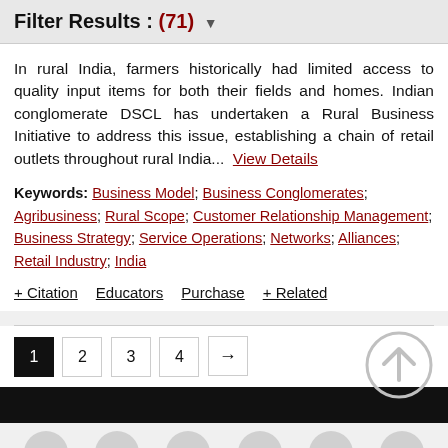Filter Results : (71) ▼
In rural India, farmers historically had limited access to quality input items for both their fields and homes. Indian conglomerate DSCL has undertaken a Rural Business Initiative to address this issue, establishing a chain of retail outlets throughout rural India...  View Details
Keywords: Business Model; Business Conglomerates; Agribusiness; Rural Scope; Customer Relationship Management; Business Strategy; Service Operations; Networks; Alliances; Retail Industry; India
+ Citation   Educators   Purchase   + Related
1  2  3  4  →